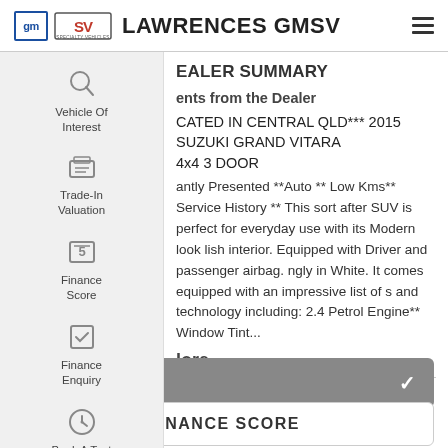LAWRENCES GMSV
Vehicle Of Interest
Trade-In Valuation
Finance Score
Finance Enquiry
Book A Test Drive
DEALER SUMMARY
Comments from the Dealer
***LOCATED IN CENTRAL QLD*** 2015 SUZUKI GRAND VITARA 4x4 3 DOOR
Elegantly Presented **Auto ** Low Kms** Service History ** This sort after SUV is perfect for everyday use with its Modern look stylish interior. Equipped with Driver and passenger airbag. Strikingly in White. It comes equipped with an impressive list of features and technology including: 2.4 Petrol Engine** Window Tint...
Read more
MOTORS PTY LTD
CONTACT US
FINANCE SCORE